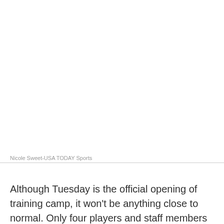[Figure (photo): Photo area — blank white space representing a sports photograph credited to Nicole Sweet-USA TODAY Sports]
Nicole Sweet-USA TODAY Sports
Although Tuesday is the official opening of training camp, it won't be anything close to normal. Only four players and staff members are allowed in the team training facility for court and weight room workouts at